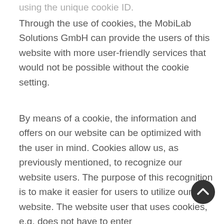using the unique cookie ID.
Through the use of cookies, the MobiLab Solutions GmbH can provide the users of this website with more user-friendly services that would not be possible without the cookie setting.
By means of a cookie, the information and offers on our website can be optimized with the user in mind. Cookies allow us, as previously mentioned, to recognize our website users. The purpose of this recognition is to make it easier for users to utilize our website. The website user that uses cookies, e.g. does not have to enter